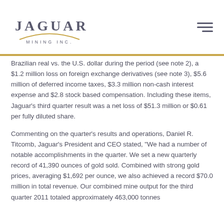[Figure (logo): Jaguar Mining Inc. logo with gold arc and company name in dark grey serif font]
Brazilian real vs. the U.S. dollar during the period (see note 2), a $1.2 million loss on foreign exchange derivatives (see note 3), $5.6 million of deferred income taxes, $3.3 million non-cash interest expense and $2.8 stock based compensation. Including these items, Jaguar's third quarter result was a net loss of $51.3 million or $0.61 per fully diluted share.
Commenting on the quarter's results and operations, Daniel R. Titcomb, Jaguar's President and CEO stated, "We had a number of notable accomplishments in the quarter. We set a new quarterly record of 41,390 ounces of gold sold. Combined with strong gold prices, averaging $1,692 per ounce, we also achieved a record $70.0 million in total revenue. Our combined mine output for the third quarter 2011 totaled approximately 463,000 tonnes